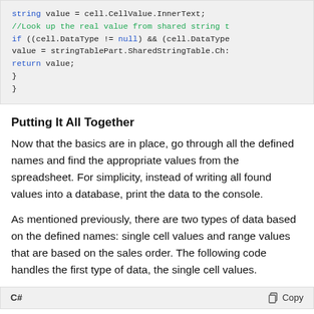[Figure (screenshot): Code block showing C# code snippet: string value = cell.CellValue.InnerText; //Look up the real value from shared string t... if ((cell.DataType != null) && (cell.DataType... value = stringTablePart.SharedStringTable.Ch... return value; }]
Putting It All Together
Now that the basics are in place, go through all the defined names and find the appropriate values from the spreadsheet. For simplicity, instead of writing all found values into a database, print the data to the console.
As mentioned previously, there are two types of data based on the defined names: single cell values and range values that are based on the sales order. The following code handles the first type of data, the single cell values.
[Figure (screenshot): Bottom of a code block area showing C# language label and Copy button]